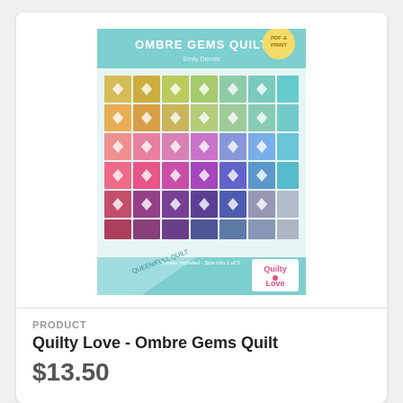[Figure (photo): Ombre Gems Quilt pattern cover with colorful diamond/gem quilt design in rainbow ombre colors on teal background]
PRODUCT
Quilty Love - Ombre Gems Quilt
$13.50
[Figure (photo): Donut Delight Quilt pattern cover with pink banner header showing colorful quilt design]